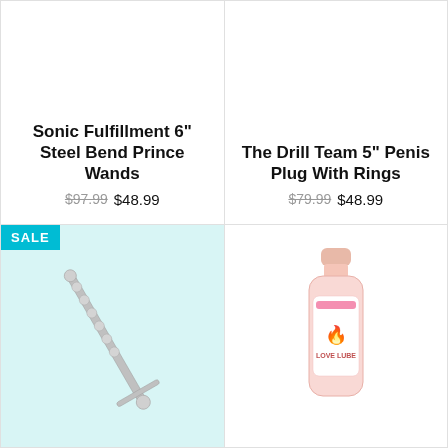Sonic Fulfillment 6" Steel Bend Prince Wands
$97.99 $48.99
The Drill Team 5" Penis Plug With Rings
$79.99 $48.99
SALE
[Figure (photo): Metal wand product on teal background]
[Figure (photo): Pink bottle of Love Lube on white background]